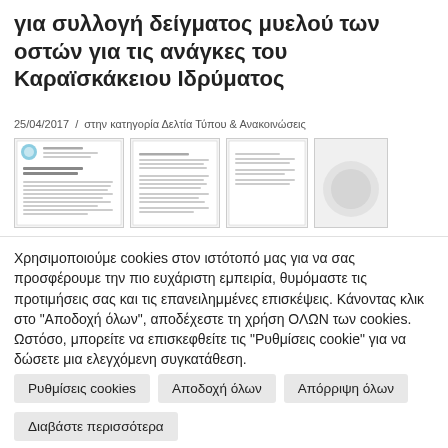για συλλογή δείγματος μυελού των οστών για τις ανάγκες του Καραϊσκάκειου Ιδρύματος
25/04/2017  /  στην κατηγορία Δελτία Τύπου & Ανακοινώσεις
[Figure (screenshot): Thumbnail previews of three document pages with light borders on white background]
Χρησιμοποιούμε cookies στον ιστότοπό μας για να σας προσφέρουμε την πιο ευχάριστη εμπειρία, θυμόμαστε τις προτιμήσεις σας και τις επανειλημμένες επισκέψεις. Κάνοντας κλικ στο "Αποδοχή όλων", αποδέχεστε τη χρήση ΟΛΩΝ των cookies. Ωστόσο, μπορείτε να επισκεφθείτε τις "Ρυθμίσεις cookie" για να δώσετε μια ελεγχόμενη συγκατάθεση.
Ρυθμίσεις cookies
Αποδοχή όλων
Απόρριψη όλων
Διαβάστε περισσότερα